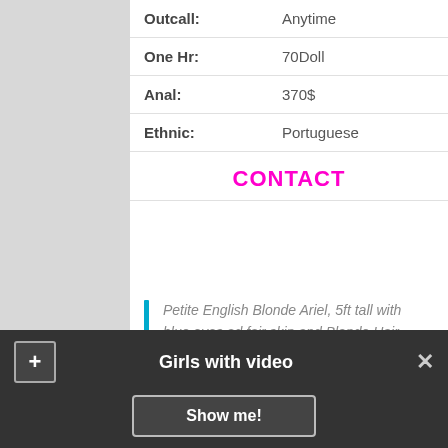| Outcall: | Anytime |
| One Hr: | 70Doll |
| Anal: | 370$ |
| Ethnic: | Portuguese |
CONTACT
Petite English Blonde Ariel, 5ft tall with blue eyes ad fair skin and Blonde Hair
Sofia
[Figure (photo): Outdoor photo showing green trees/foliage]
Girls with video
Show me!